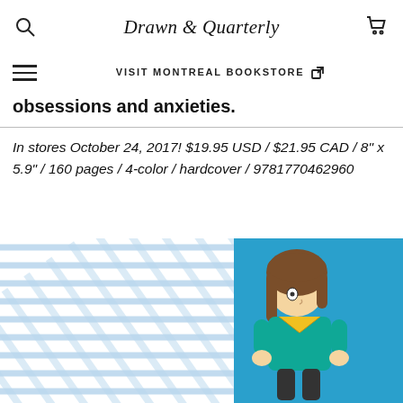Drawn & Quarterly
VISIT MONTREAL BOOKSTORE ↗
obsessions and anxieties.
In stores October 24, 2017! $19.95 USD / $21.95 CAD / 8" x 5.9" / 160 pages / 4-color / hardcover / 9781770462960
[Figure (illustration): Comic book illustration of a young girl with brown hair wearing a teal and yellow outfit, sitting against a diagonal striped background (blue and white) and a solid blue section]